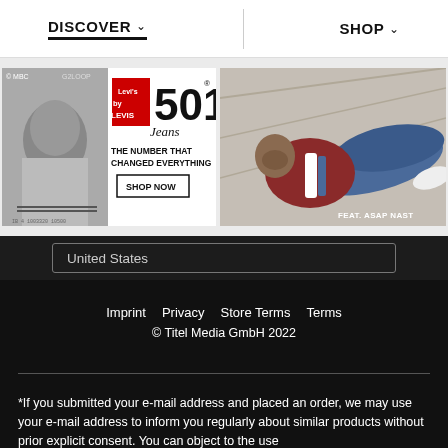DISCOVER  SHOP
[Figure (screenshot): Levi's 501 Jeans advertisement: black and white photo of person on left, red Levi's logo with '501 Jeans' text, 'THE NUMBER THAT CHANGED EVERYTHING', 'SHOP NOW' button]
[Figure (photo): Fashion photo of man reclining in denim jeans and jacket, text 'FEAT. ASAP NAST' at bottom right]
United States
Imprint  Privacy  Store Terms  Terms
© Titel Media GmbH 2022
*If you submitted your e-mail address and placed an order, we may use your e-mail address to inform you regularly about similar products without prior explicit consent. You can object to the use